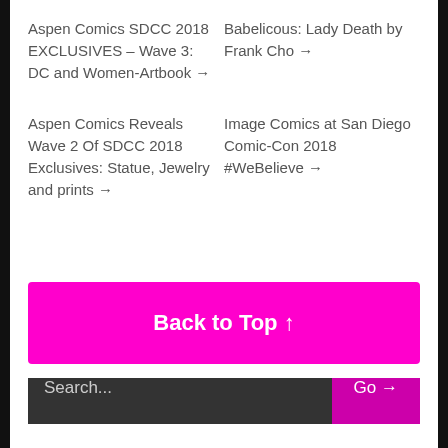Aspen Comics SDCC 2018 EXCLUSIVES – Wave 3: DC and Women-Artbook →
Babelicous: Lady Death by Frank Cho →
Aspen Comics Reveals Wave 2 Of SDCC 2018 Exclusives: Statue, Jewelry and prints →
Image Comics at San Diego Comic-Con 2018 #WeBelieve →
Back to Top ↑
Search... Go →